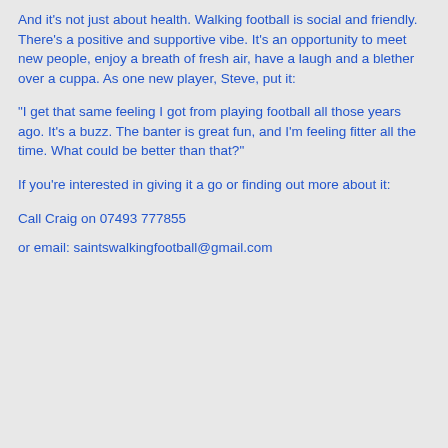And it’s not just about health. Walking football is social and friendly. There’s a positive and supportive vibe. It’s an opportunity to meet new people, enjoy a breath of fresh air, have a laugh and a blether over a cuppa. As one new player, Steve, put it:
“I get that same feeling I got from playing football all those years ago. It’s a buzz. The banter is great fun, and I’m feeling fitter all the time. What could be better than that?”
If you’re interested in giving it a go or finding out more about it:
Call Craig on 07493 777855
or email: saintswalkingfootball@gmail.com